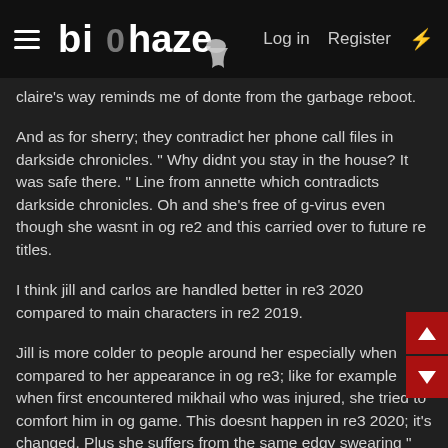biohaze — Log in  Register
claire's way reminds me of donte from the garbage reboot.
And as for sherry; they contradict her phone call files in darkside chronicles. " Why didnt you stay in the house? It was safe there. " Line from annette which contradicts darkside chronicles. Oh and she's free of g-virus even though she wasnt in og re2 and this carried over to future re titles.
I think jill and carlos are handled better in re3 2020 compared to main characters in re2 2019.
Jill is more colder to people around her especially when compared to her appearance in og re3; like for example when first encountered mikhail who was injured, she tried to comfort him in og game. This doesnt happen in re3 2020; it's changed. Plus she suffers from the same edgy swearing " syndrome claire does though not as